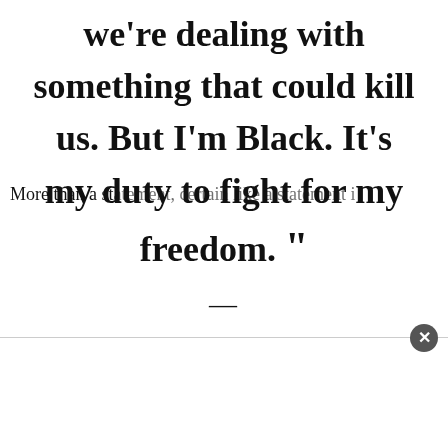We're dealing with something that could kill us. But I'm Black. It's my duty to fight for my freedom. ”
—
More than a statement, certain like a statement in...